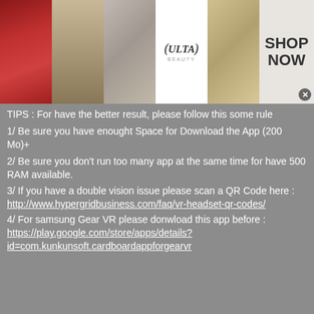[Figure (photo): Advertisement banner with makeup/beauty images: lips with red lipstick, makeup brush, eye with dramatic makeup, Ulta Beauty logo, eye with dramatic makeup, and SHOP NOW call to action with close button.]
TIPS : For have the better result, please follow this some rule
1/ Be sure you have enought Space for Download the App (200 Mo)+
2/ Be sure you don't run too many app at the same time for have 500 RAM available.
3/ If you have a double vision issue please scan a QR Code here : http://www.hypergridbusiness.com/faq/vr-headset-qr-codes/
4/ For samsung Gear VR please donwload this app before : https://play.google.com/store/apps/details?id=com.kunkunsoft.cardboardappforgearvr
Open this topic on...
[Figure (screenshot): Bottom navigation bar with orange circular icon and a rounded button, followed by white space with close button.]